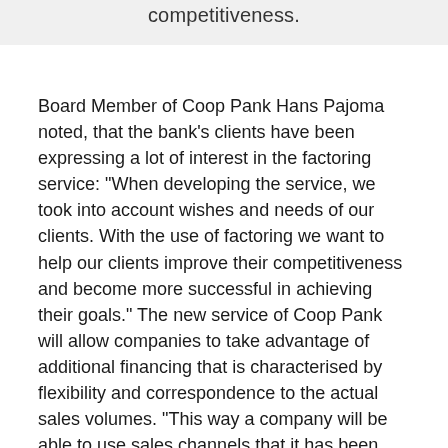competitiveness.
Board Member of Coop Pank Hans Pajoma noted, that the bank's clients have been expressing a lot of interest in the factoring service: “When developing the service, we took into account wishes and needs of our clients. With the use of factoring we want to help our clients improve their competitiveness and become more successful in achieving their goals.” The new service of Coop Pank will allow companies to take advantage of additional financing that is characterised by flexibility and correspondence to the actual sales volumes. “This way a company will be able to use sales channels that it has been unable to fund using own resources or other financing products. Our factoring service is directed at